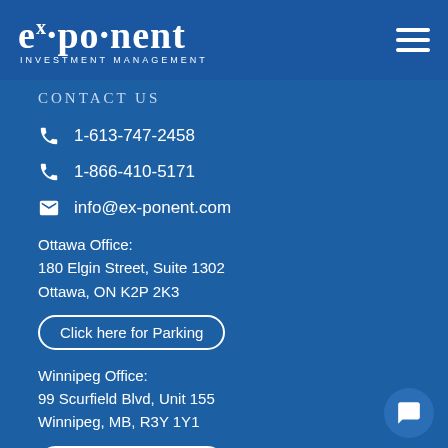[Figure (logo): ex·po·nent Investment Management logo in white on blue background]
CONTACT US
1-613-747-2458
1-866-410-5171
info@ex-ponent.com
Ottawa Office:
180 Elgin Street, Suite 1302
Ottawa, ON K2P 2K3
Click here for Parking
Winnipeg Office:
99 Scurfield Blvd, Unit 155
Winnipeg, MB, R3Y 1Y1
Click here for Parking